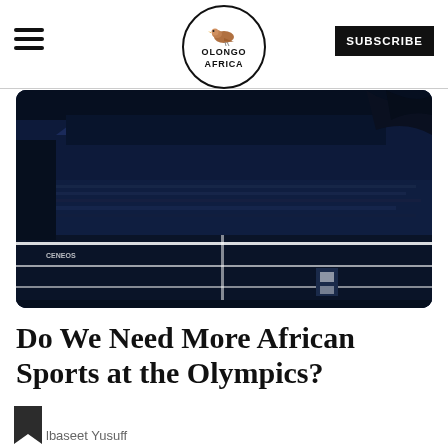Olongo Africa — SUBSCRIBE
[Figure (photo): High-contrast dark navy blue and white stylized photo of a sports stadium/track with crowd in background]
Do We Need More African Sports at the Olympics?
lbaseet Yusuff